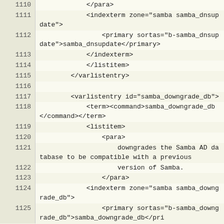| line | code |
| --- | --- |
| 1110 |             </para> |
| 1111 |             <indexterm zone="samba samba_dnsupdate"> |
| 1112 |                 <primary sortas="b-samba_dnsupdate">samba_dnsupdate</primary> |
| 1113 |             </indexterm> |
| 1114 |             </listitem> |
| 1115 |         </varlistentry> |
| 1116 |  |
| 1117 |         <varlistentry id="samba_downgrade_db"> |
| 1118 |             <term><command>samba_downgrade_db</command></term> |
| 1119 |             <listitem> |
| 1120 |                 <para> |
| 1121 |                     downgrades the Samba AD database to be compatible with a previous |
| 1122 |                     version of Samba. |
| 1123 |                 </para> |
| 1124 |             <indexterm zone="samba samba_downgrade_db"> |
| 1125 |                 <primary sortas="b-samba_downgrade_db">samba_downgrade_db</pri |